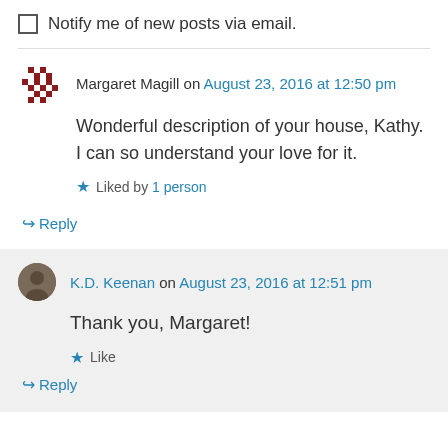Notify me of new posts via email.
Margaret Magill on August 23, 2016 at 12:50 pm
Wonderful description of your house, Kathy. I can so understand your love for it.
Liked by 1 person
↳ Reply
K.D. Keenan on August 23, 2016 at 12:51 pm
Thank you, Margaret!
Like
↳ Reply